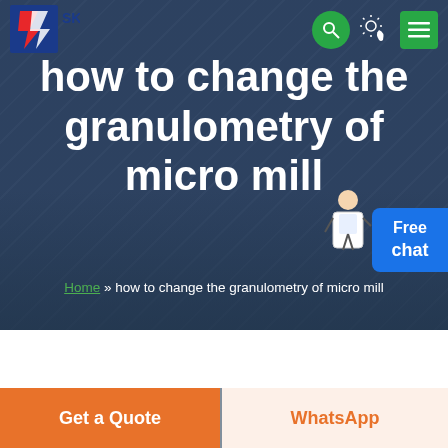[Figure (screenshot): Website hero banner with industrial building background, SKS logo top-left, search and menu buttons top-right, theme toggle icon, chat assistant widget on right side]
how to change the granulometry of micro mill
Home » how to change the granulometry of micro mill
[Figure (photo): Partial view of industrial interior/machinery at bottom of page]
Get a Quote
WhatsApp